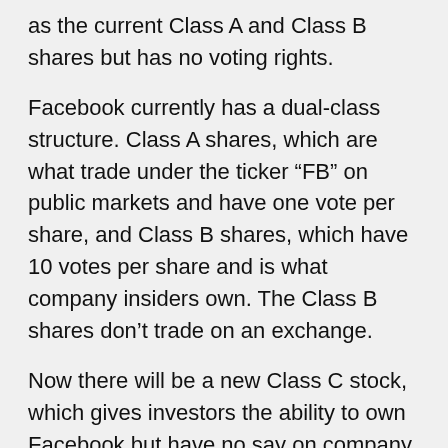as the current Class A and Class B shares but has no voting rights.
Facebook currently has a dual-class structure. Class A shares, which are what trade under the ticker “FB” on public markets and have one vote per share, and Class B shares, which have 10 votes per share and is what company insiders own. The Class B shares don’t trade on an exchange.
Now there will be a new Class C stock, which gives investors the ability to own Facebook but have no say on company decisions. There will also be a new ticker for the Class C stock, like “FBC” or something.
So again, Zuckerberg has the power now and will have the power in the future. This move merely formalizes it.”